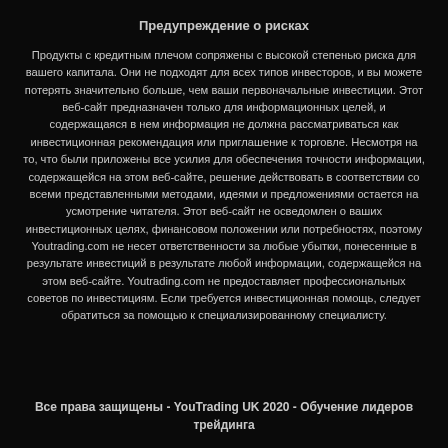Предупреждение о рисках
Продукты с кредитным плечом сопряжены с высокой степенью риска для вашего капитала. Они не подходят для всех типов инвесторов, и вы можете потерять значительно больше, чем ваши первоначальные инвестиции. Этот веб-сайт предназначен только для информационных целей, и содержащаяся в нем информация не должна рассматриваться как инвестиционная рекомендация или приглашение к торговле. Несмотря на то, что были приложены все усилия для обеспечения точности информации, содержащейся на этом веб-сайте, решение действовать в соответствии со всеми представленными методами, идеями и предложениями остается на усмотрение читателя. Этот веб-сайт не осведомлен о ваших инвестиционных целях, финансовом положении или потребностях, поэтому Youtrading.com не несет ответственности за любые убытки, понесенные в результате инвестиций в результате любой информации, содержащейся на этом веб-сайте. Youtrading.com не предоставляет профессиональных советов по инвестициям. Если требуется инвестиционная помощь, следует обратиться за помощью к специализированному специалисту.
Все права защищены - YouTrading UK 2020 - Обучение лидеров трейдинга